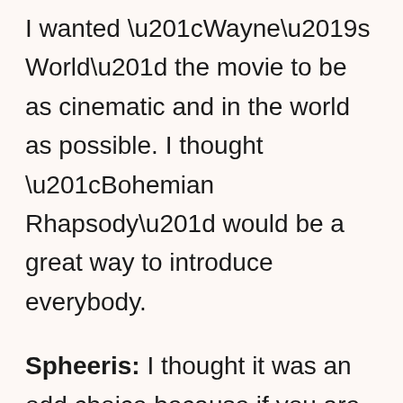I wanted “Wayne’s World” the movie to be as cinematic and in the world as possible. I thought “Bohemian Rhapsody” would be a great way to introduce everybody.
Spheeris: I thought it was an odd choice because if you are